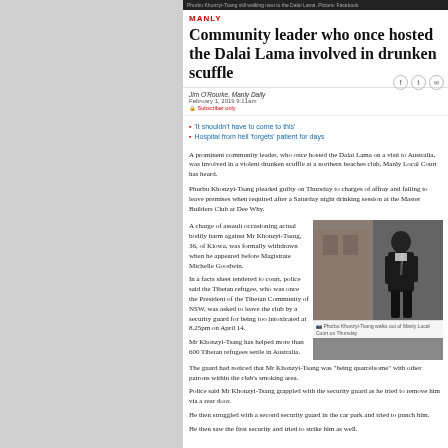Phurbu Khonzyi-Tsang still walking next to the Dalai Lama. Picture: Facebook
MANLY
Community leader who once hosted the Dalai Lama involved in drunken scuffle
Jim O'Rourke, Manly Daily
February 1, 2019 9:11am
Subscriber only
'It shouldn't have to come to this'
Hospital from hell 'forgets' patient for days
A prominent community leader, who once hosted the Dalai Lama on a visit to Australia, was involved in a violent drunken scuffle at a northern beaches club, Manly Local Court has heard.
Phurbu Khonzyi-Tsang pleaded guilty on Thursday to charges of affray and failing to leave premises when required after a Saturday night drinking session at the Master Builders Club at Dee Why.
A charge of assault occasioning actual bodily harm against Mr Khonzyi-Tsang, 36, of Kiowa, was formally withdrawn when he appeared before Magistrate Michelle Goodwin.
In a facts sheet tendered to court, police said the Tibetan refugee, who was once the President of the Tibetan Community of NSW, was asked to leave the club by a security guard for being too intoxicated at 8.25pm on April 14.
Mr Khonzyi-Tsang has helped more than 600 Tibetan refugees settle in Australia.
[Figure (photo): Phurbu Khonzyi-Tsang walking out of the court on Thursday]
Phurbu Khonzyi-Tsang walks out of Manly Local Court on Thursday
The guard had noticed that Mr Khonzyi-Tsang was "being quarrelsome" with other patrons within the club's smoking area.
Police said Mr Khonzyi-Tsang grappled with the security guard as he tried to remove him via a rear door.
He then struggled with a second security guard in the car park and tried to punch him.
He then saw the first security and tried to strike him as well.